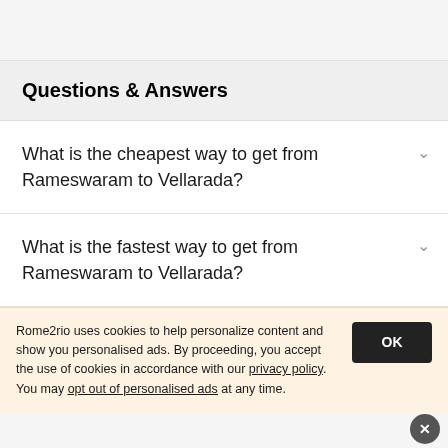Questions & Answers
What is the cheapest way to get from Rameswaram to Vellarada?
What is the fastest way to get from Rameswaram to Vellarada?
Rome2rio uses cookies to help personalize content and show you personalised ads. By proceeding, you accept the use of cookies in accordance with our privacy policy. You may opt out of personalised ads at any time.